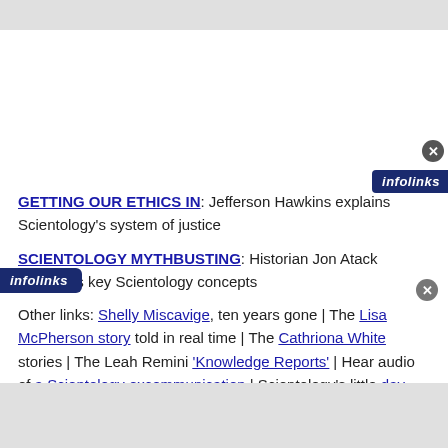[Figure (screenshot): Infolinks advertisement banner top right corner with close button]
GETTING OUR ETHICS IN: Jefferson Hawkins explains Scientology's system of justice
SCIENTOLOGY MYTHBUSTING: Historian Jon Atack discusses key Scientology concepts
Other links: Shelly Miscavige, ten years gone | The Lisa McPherson story told in real time | The Cathriona White stories | The Leah Remini 'Knowledge Reports' | Hear audio of a Scientology excommunication | Scientology's little day care of horrors | Whatever happened to Steve Fishman? | Felony
[Figure (screenshot): Infolinks advertisement banner bottom left corner with close button]